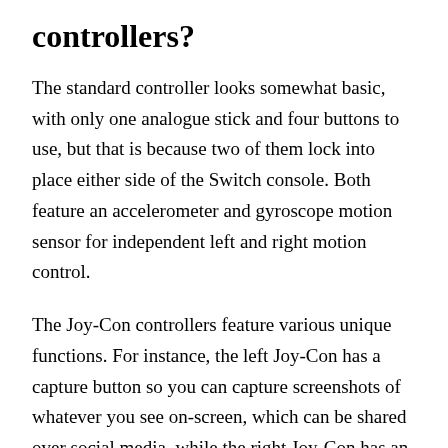controllers?
The standard controller looks somewhat basic, with only one analogue stick and four buttons to use, but that is because two of them lock into place either side of the Switch console. Both feature an accelerometer and gyroscope motion sensor for independent left and right motion control.
The Joy-Con controllers feature various unique functions. For instance, the left Joy-Con has a capture button so you can capture screenshots of whatever you see on-screen, which can be shared over social media, while the right Joy-Con has an